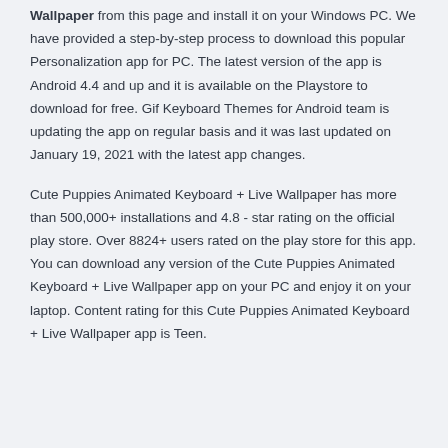Wallpaper from this page and install it on your Windows PC. We have provided a step-by-step process to download this popular Personalization app for PC. The latest version of the app is Android 4.4 and up and it is available on the Playstore to download for free. Gif Keyboard Themes for Android team is updating the app on regular basis and it was last updated on January 19, 2021 with the latest app changes.
Cute Puppies Animated Keyboard + Live Wallpaper has more than 500,000+ installations and 4.8 - star rating on the official play store. Over 8824+ users rated on the play store for this app. You can download any version of the Cute Puppies Animated Keyboard + Live Wallpaper app on your PC and enjoy it on your laptop. Content rating for this Cute Puppies Animated Keyboard + Live Wallpaper app is Teen.